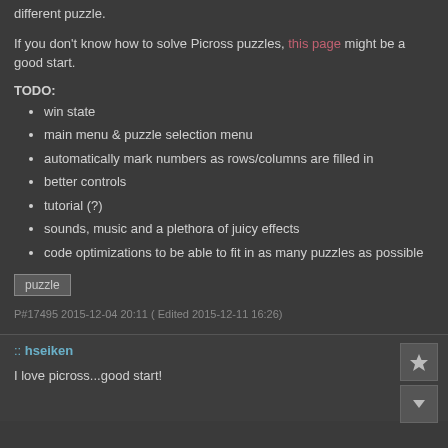different puzzle.
If you don't know how to solve Picross puzzles, this page might be a good start.
TODO:
win state
main menu & puzzle selection menu
automatically mark numbers as rows/columns are filled in
better controls
tutorial (?)
sounds, music and a plethora of juicy effects
code optimizations to be able to fit in as many puzzles as possible
puzzle
P#17495 2015-12-04 20:11 ( Edited 2015-12-11 16:26)
:: hseiken
I love picross...good start!